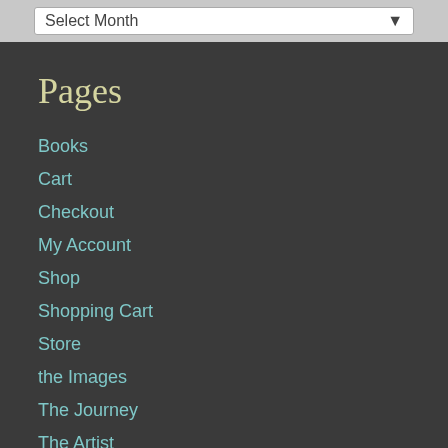Select Month
Pages
Books
Cart
Checkout
My Account
Shop
Shopping Cart
Store
the Images
The Journey
The Artist
Archives